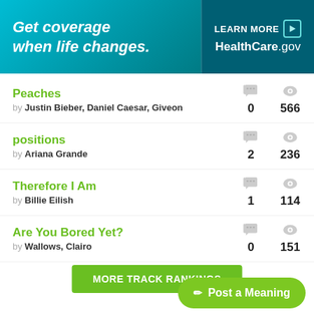[Figure (infographic): HealthCare.gov advertisement banner: 'Get coverage when life changes. LEARN MORE HealthCare.gov']
Peaches by Justin Bieber, Daniel Caesar, Giveon — comments: 0, views: 566
positions by Ariana Grande — comments: 2, views: 236
Therefore I Am by Billie Eilish — comments: 1, views: 114
Are You Bored Yet? by Wallows, Clairo — comments: 0, views: 151
MORE TRACK RANKINGS
Post a Meaning